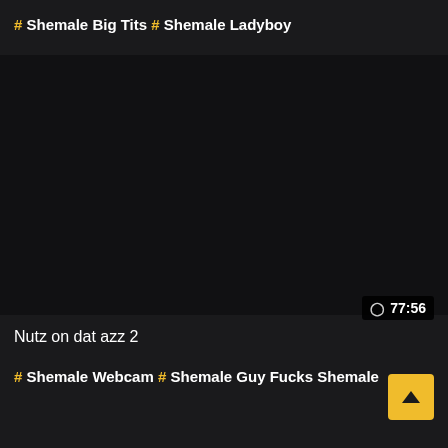# Shemale Big Tits # Shemale Ladyboy
[Figure (screenshot): Dark video thumbnail area, mostly black/dark gray]
77:56
Nutz on dat azz 2
# Shemale Webcam # Shemale Guy Fucks Shemale